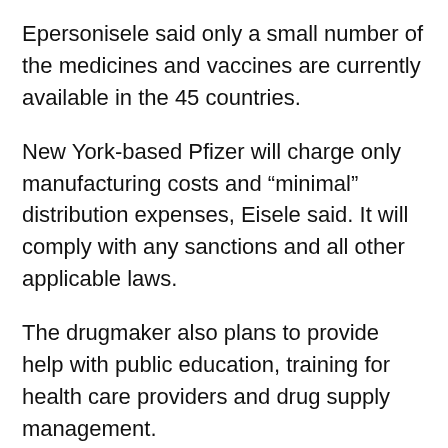Epersonisele said only a small number of the medicines and vaccines are currently available in the 45 countries.
New York-based Pfizer will charge only manufacturing costs and “minimal” distribution expenses, Eisele said. It will comply with any sanctions and all other applicable laws.
The drugmaker also plans to provide help with public education, training for health care providers and drug supply management.
“What we discovered through the pandemic was that supply was not enough to resolve the issues that these countries are having,” Pfizer Chairman and CEO Albert Bourla said Wednesday during a talk at Davos.